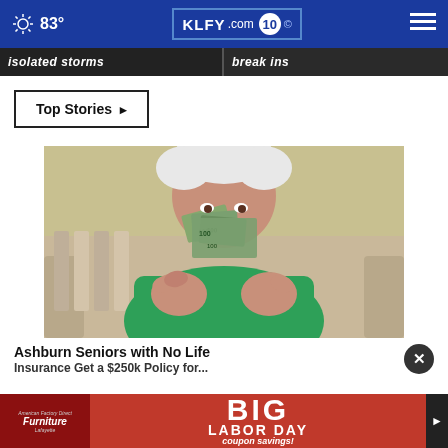83° KLFY.com 10
isolated storms
break ins
Top Stories ▶
[Figure (photo): Elderly person in green shirt holding fan of US dollar bills up to their face]
Ashburn Seniors with No Life Insurance Get a $250k Policy for...
[Figure (infographic): American Factory Direct Furniture Lafayette - BIG LABOR DAY coupon savings! advertisement banner]